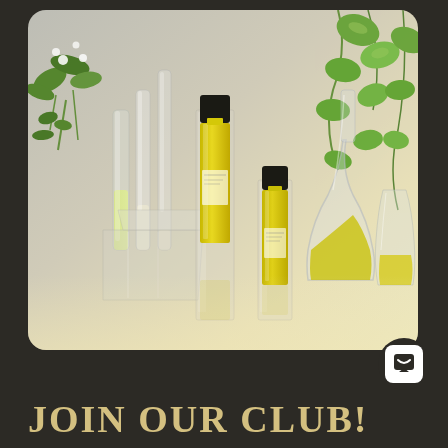[Figure (photo): Product photograph of two yellow perfume bottles with black caps displayed on clear acrylic stands, surrounded by glass laboratory vessels, test tubes with yellow-green liquid, and green plants on a light gradient background.]
JOIN OUR CLUB!